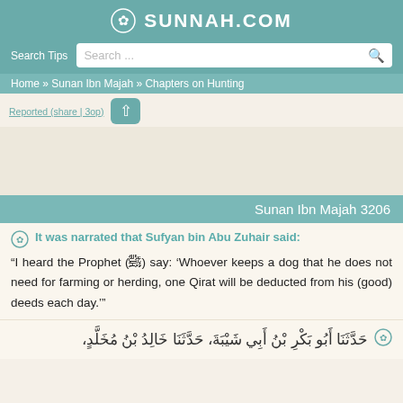SUNNAH.COM
Search Tips  Search ...
Home » Sunan Ibn Majah » Chapters on Hunting
Sunan Ibn Majah 3206
It was narrated that Sufyan bin Abu Zuhair said:
"I heard the Prophet (ﷺ) say: 'Whoever keeps a dog that he does not need for farming or herding, one Qirat will be deducted from his (good) deeds each day.'"
حَدَّثَنَا أَبُو بَكْرِ بْنُ أَبِي شَيْبَةَ، حَدَّثَنَا خَالِدُ بْنُ مُخَلَّدٍ،